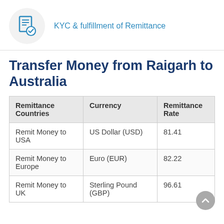[Figure (illustration): Blue KYC document icon with checkmark inside a light gray circle]
KYC & fulfillment of Remittance
Transfer Money from Raigarh to Australia
| Remittance Countries | Currency | Remittance Rate |
| --- | --- | --- |
| Remit Money to USA | US Dollar (USD) | 81.41 |
| Remit Money to Europe | Euro (EUR) | 82.22 |
| Remit Money to UK | Sterling Pound (GBP) | 96.61 |